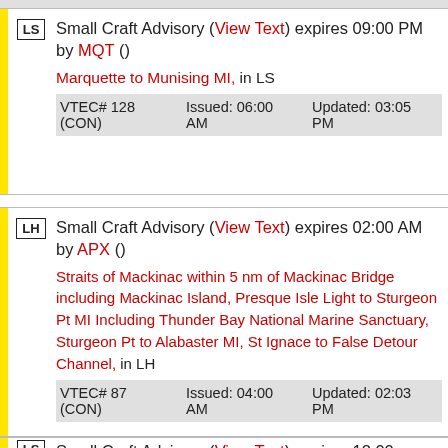Small Craft Advisory (View Text) expires 09:00 PM by MQT ()
Marquette to Munising MI, in LS
VTEC# 128 (CON)   Issued: 06:00 AM   Updated: 03:05 PM
Small Craft Advisory (View Text) expires 02:00 AM by APX ()
Straits of Mackinac within 5 nm of Mackinac Bridge including Mackinac Island, Presque Isle Light to Sturgeon Pt MI Including Thunder Bay National Marine Sanctuary, Sturgeon Pt to Alabaster MI, St Ignace to False Detour Channel, in LH
VTEC# 87 (CON)   Issued: 04:00 AM   Updated: 02:03 PM
Small Craft Advisory (View Text) expires 12:00